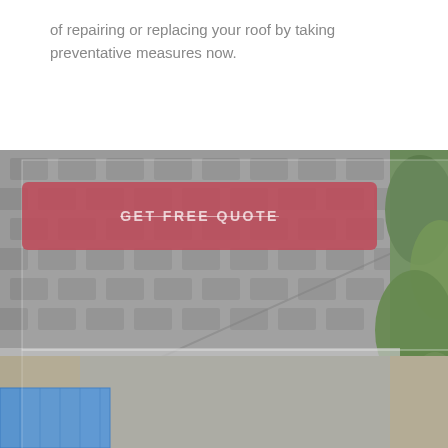of repairing or replacing your roof by taking preventative measures now.
[Figure (photo): Aerial view of a house roof with grey shingles and gutters. A person on a ladder is visible at the edge of the roof. Green trees visible on the right. Driveway and a blue tarp visible at lower left. A red 'GET FREE QUOTE' button overlay is shown on the upper left portion of the image.]